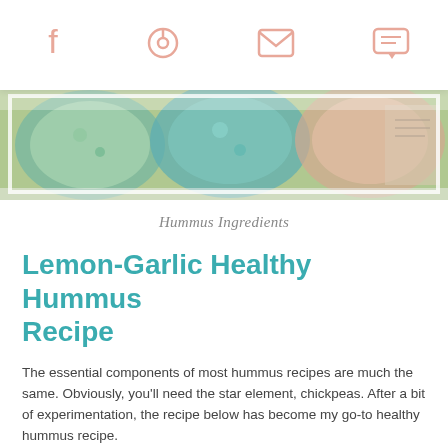social sharing icons: facebook, pinterest, email, comment
[Figure (photo): Top-down photo of hummus ingredients including chickpeas and colorful ingredients in bowls on a surface]
Hummus Ingredients
Lemon-Garlic Healthy Hummus Recipe
The essential components of most hummus recipes are much the same. Obviously, you'll need the star element, chickpeas. After a bit of experimentation, the recipe below has become my go-to healthy hummus recipe.
One of the things I like about this recipe is that it calls for only 1.5 tablespoons (22 ml) of tahini paste. When I was trying out hummus recipes, some called for as much as half a cup (125 ml) of tahini. I found that that much tahini paste overpowered the entire dish.